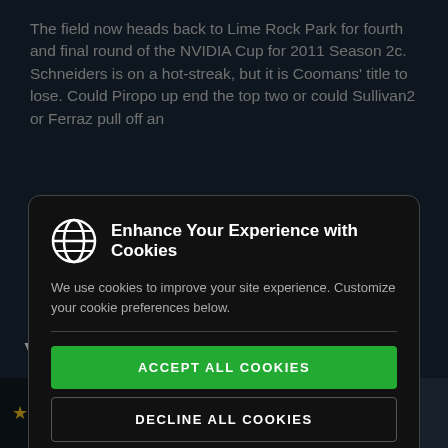The field now heads back to Lime Rock Park for fourth and final round of the NVIDIA Cup for 2011 Season 2c. Schneiders is on a hot-streak, but it is Coomans' title to lose. Could Piropo up end the top two or could Sullivan2 or Ferraz pull off an
[Figure (screenshot): Cookie consent modal dialog with dark background overlay. Contains a globe icon, title 'Enhance Your Experience with Cookies', description text, and three buttons: 'ACCEPT ALL COOKIES' (green), 'DECLINE ALL COOKIES' (dark outlined), 'CUSTOMIZE COOKIES' (dark outlined).]
You may also like...
Recommended